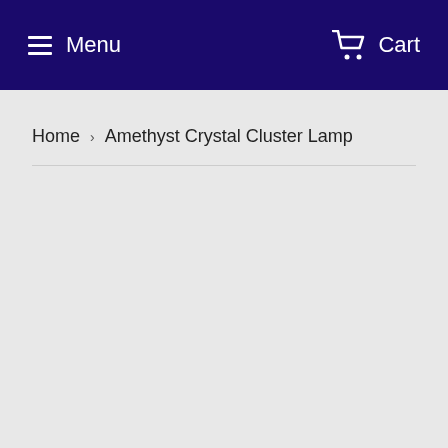Menu  Cart
Home › Amethyst Crystal Cluster Lamp